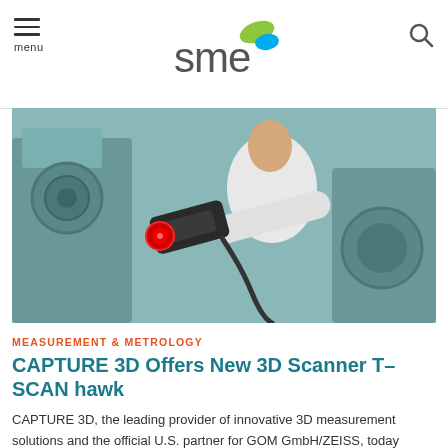[Figure (logo): SME logo — stylized 'sme' text with teal/green swoosh graphic]
[Figure (photo): Person in white t-shirt holding a handheld 3D laser scanner (T-SCAN hawk) pointed at industrial machinery in a manufacturing environment]
MEASUREMENT & METROLOGY
CAPTURE 3D Offers New 3D Scanner T-SCAN hawk
CAPTURE 3D, the leading provider of innovative 3D measurement solutions and the official U.S. partner for GOM GmbH/ZEISS, today announced the T-SCAN hawk, a portable laser scanner that collects precision 3D data fast.
By Capture 3D